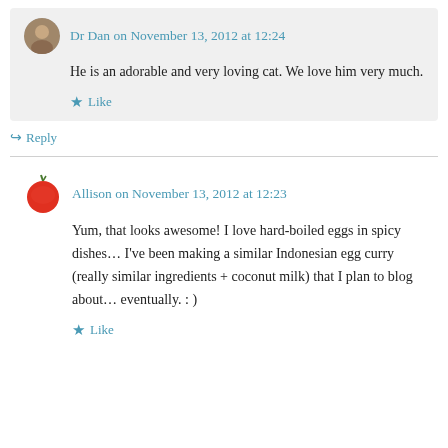Dr Dan on November 13, 2012 at 12:24
He is an adorable and very loving cat. We love him very much.
Like
Reply
Allison on November 13, 2012 at 12:23
Yum, that looks awesome! I love hard-boiled eggs in spicy dishes… I've been making a similar Indonesian egg curry (really similar ingredients + coconut milk) that I plan to blog about… eventually. : )
Like